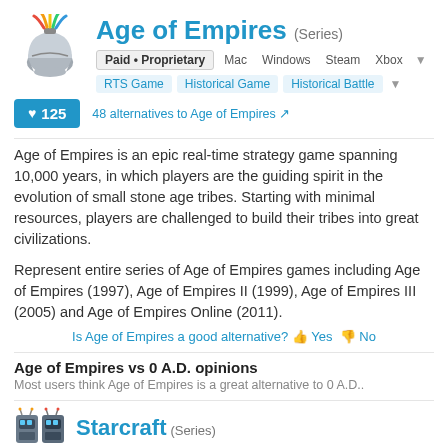Age of Empires (Series)
Paid • Proprietary   Mac   Windows   Steam   Xbox
RTS Game   Historical Game   Historical Battle
♥ 125   48 alternatives to Age of Empires
Age of Empires is an epic real-time strategy game spanning 10,000 years, in which players are the guiding spirit in the evolution of small stone age tribes. Starting with minimal resources, players are challenged to build their tribes into great civilizations.
Represent entire series of Age of Empires games including Age of Empires (1997), Age of Empires II (1999), Age of Empires III (2005) and Age of Empires Online (2011).
Is Age of Empires a good alternative? Yes No
Age of Empires vs 0 A.D. opinions
Most users think Age of Empires is a great alternative to 0 A.D..
Starcraft (Series)